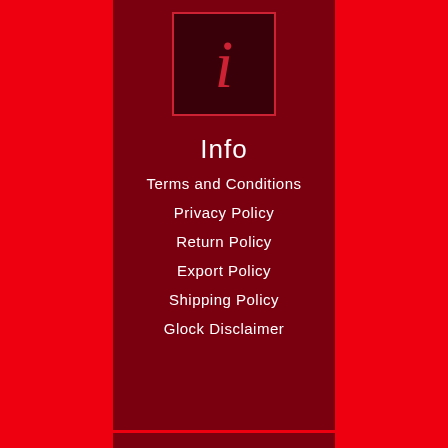[Figure (logo): Dark red square box with italic red 'i' letter inside, representing an Info icon]
Info
Terms and Conditions
Privacy Policy
Return Policy
Export Policy
Shipping Policy
Glock Disclaimer